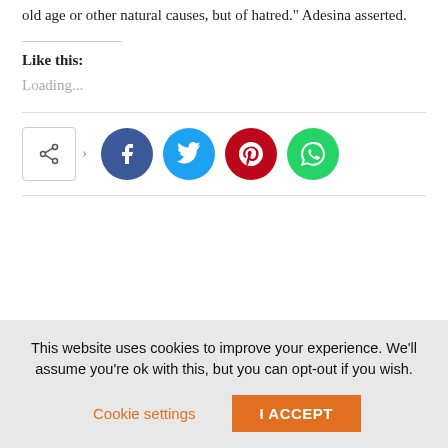old age or other natural causes, but of hatred." Adesina asserted.
Like this:
Loading...
[Figure (infographic): Social share buttons row: a share icon box with arrow, followed by four circular social media buttons for Facebook (blue), Twitter (cyan), Pinterest (red), and WhatsApp (green).]
This website uses cookies to improve your experience. We'll assume you're ok with this, but you can opt-out if you wish.
Cookie settings
I ACCEPT